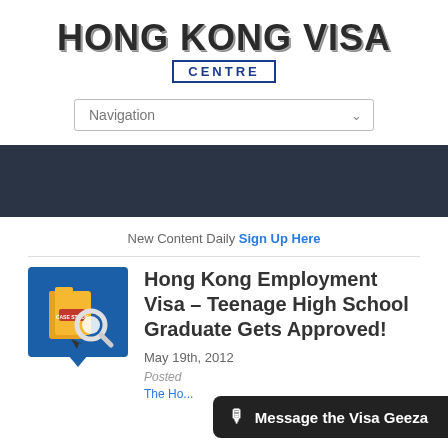[Figure (logo): Hong Kong Visa Centre logo with bold text and blue bordered subtitle]
[Figure (screenshot): Navigation dropdown bar with chevron]
[Figure (other): Dark navy banner bar]
New Content Daily Sign Up Here
[Figure (illustration): Case study folder icon with magnifying glass on blue background with chat bubble tip]
Hong Kong Employment Visa – Teenage High School Graduate Gets Approved!
May 19th, 2012
Posted
The Ho...
Message the Visa Geeza